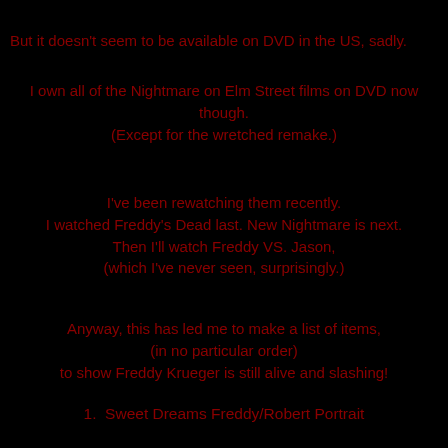But it doesn't seem to be available on DVD in the US, sadly.
I own all of the Nightmare on Elm Street films on DVD now though.
(Except for the wretched remake.)
I've been rewatching them recently.
I watched Freddy's Dead last. New Nightmare is next.
Then I'll watch Freddy VS. Jason,
(which I've never seen, surprisingly.)
Anyway, this has led me to make a list of items,
(in no particular order)
to show Freddy Krueger is still alive and slashing!
1.  Sweet Dreams Freddy/Robert Portrait